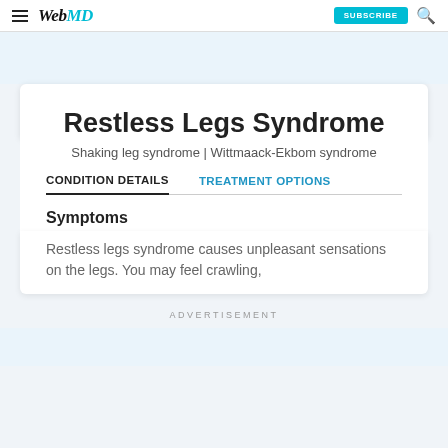WebMD SUBSCRIBE
Restless Legs Syndrome
Shaking leg syndrome | Wittmaack-Ekbom syndrome
CONDITION DETAILS    TREATMENT OPTIONS
Symptoms
Restless legs syndrome causes unpleasant sensations on the legs. You may feel crawling,
ADVERTISEMENT